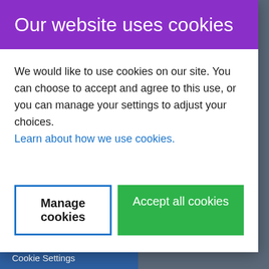Our website uses cookies
We would like to use cookies on our site. You can choose to accept and agree to this use, or you can manage your settings to adjust your choices. Learn about how we use cookies.
Manage cookies
Accept all cookies
Ireland.
Location Map
info@rcc.ie
Office: +35316614911
Cookie Settings
00 77 8888